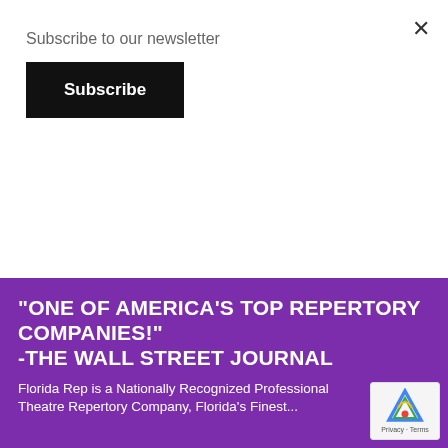Subscribe to our newsletter
Subscribe
×
"ONE OF AMERICA'S TOP REPERTORY COMPANIES!" -THE WALL STREET JOURNAL
Florida Rep is a Nationally Recognized Professional Theatre Repertory Company, Florida's Finest...